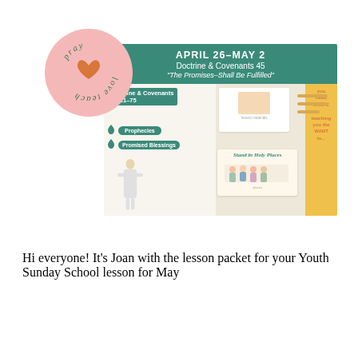[Figure (logo): Round pink circle logo with 'love pray teach' text in green italic and an orange heart in the center]
[Figure (illustration): Sunday school lesson packet preview image showing banner 'APRIL 26-MAY 2 Doctrine & Covenants 45 The Promises-Shall Be Fulfilled' with lesson materials including Prophecies, Promised Blessings cards, illustration of Jesus, and 'Stand in Holy Places' card]
Hi everyone! It's Joan with the lesson packet for your Youth Sunday School lesson for May